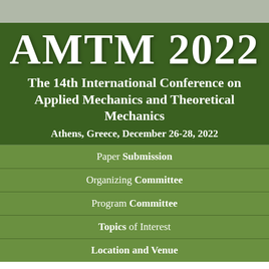AMTM 2022
The 14th International Conference on Applied Mechanics and Theoretical Mechanics
Athens, Greece, December 26-28, 2022
Paper Submission
Organizing Committee
Program Committee
Topics of Interest
Location and Venue